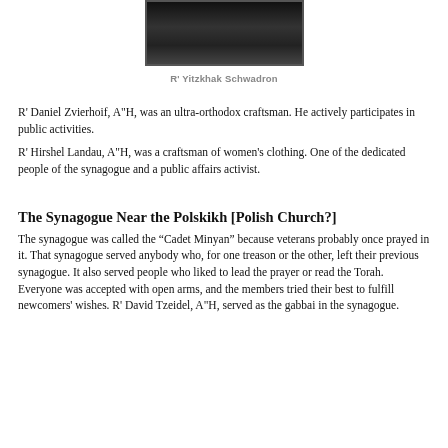[Figure (photo): Black and white portrait photograph of R' Yitzkhak Schwadron]
R' Yitzkhak Schwadron
R' Daniel Zvierhoif, A"H, was an ultra-orthodox craftsman. He actively participates in public activities.
R' Hirshel Landau, A"H, was a craftsman of women's clothing. One of the dedicated people of the synagogue and a public affairs activist.
The Synagogue Near the Polskikh [Polish Church?]
The synagogue was called the “Cadet Minyan” because veterans probably once prayed in it. That synagogue served anybody who, for one treason or the other, left their previous synagogue. It also served people who liked to lead the prayer or read the Torah. Everyone was accepted with open arms, and the members tried their best to fulfill newcomers' wishes. R' David Tzeidel, A"H, served as the gabbai in the synagogue.